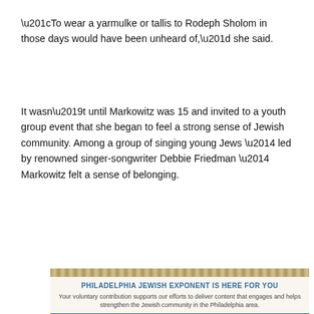“To wear a yarmulke or tallis to Rodeph Sholom in those days would have been unheard of,” she said.
It wasn’t until Markowitz was 15 and invited to a youth group event that she began to feel a strong sense of Jewish community. Among a group of singing young Jews — led by renowned singer-songwriter Debbie Friedman — Markowitz felt a sense of belonging.
[Figure (other): Decorative horizontal striped divider bar in tan/gold tones]
PHILADELPHIA JEWISH EXPONENT IS HERE FOR YOU
Your voluntary contribution supports our efforts to deliver content that engages and helps strengthen the Jewish community in the Philadelphia area.
CONTRIBUTE
[Figure (photo): Partially visible photograph of people, muted blue-grey tones, mostly obscured]